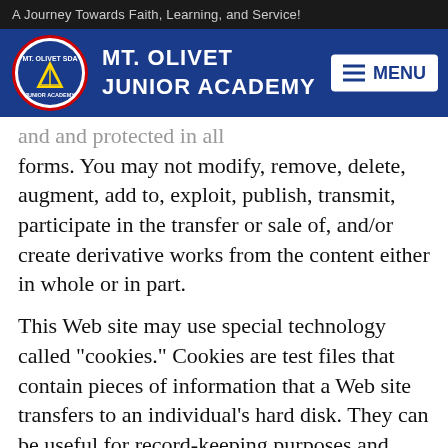A Journey Towards Faith, Learning, and Service!
[Figure (logo): Mt. Olivet Junior Academy logo with school emblem and navigation bar showing MENU button]
and and protected in all forms. You may not modify, remove, delete, augment, add to, exploit, publish, transmit, participate in the transfer or sale of, and/or create derivative works from the content either in whole or in part.
This Web site may use special technology called "cookies." Cookies are test files that contain pieces of information that a Web site transfers to an individual's hard disk. They can be useful for record-keeping purposes and help us to tailor our Web site to the interests and needs of our visitors. Cookies may also be used to increase session security. We do not in any way use this information